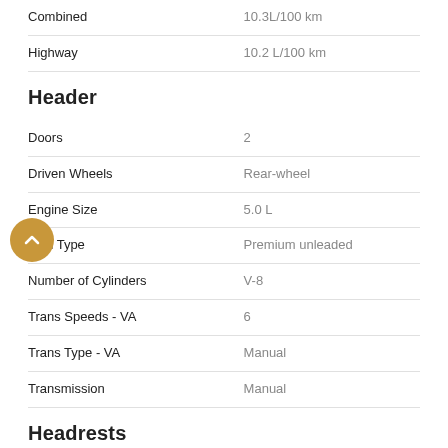| Attribute | Value |
| --- | --- |
| Combined | 10.3L/100 km |
| Highway | 10.2 L/100 km |
Header
| Attribute | Value |
| --- | --- |
| Doors | 2 |
| Driven Wheels | Rear-wheel |
| Engine Size | 5.0 L |
| Fuel Type | Premium unleaded |
| Number of Cylinders | V-8 |
| Trans Speeds - VA | 6 |
| Trans Type - VA | Manual |
| Transmission | Manual |
Headrests
| Attribute | Value |
| --- | --- |
| Adjustable Front Headrests | Manual w/tilt |
| Adjustable rear headrests | Fixed |
| Number of rear headrests | 2 |